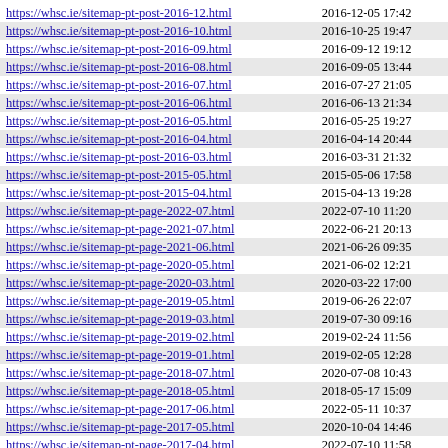| https://whsc.ie/sitemap-pt-post-2016-12.html | 2016-12-05 17:42 |
| https://whsc.ie/sitemap-pt-post-2016-10.html | 2016-10-25 19:47 |
| https://whsc.ie/sitemap-pt-post-2016-09.html | 2016-09-12 19:12 |
| https://whsc.ie/sitemap-pt-post-2016-08.html | 2016-09-05 13:44 |
| https://whsc.ie/sitemap-pt-post-2016-07.html | 2016-07-27 21:05 |
| https://whsc.ie/sitemap-pt-post-2016-06.html | 2016-06-13 21:34 |
| https://whsc.ie/sitemap-pt-post-2016-05.html | 2016-05-25 19:27 |
| https://whsc.ie/sitemap-pt-post-2016-04.html | 2016-04-14 20:44 |
| https://whsc.ie/sitemap-pt-post-2016-03.html | 2016-03-31 21:32 |
| https://whsc.ie/sitemap-pt-post-2015-05.html | 2015-05-06 17:58 |
| https://whsc.ie/sitemap-pt-post-2015-04.html | 2015-04-13 19:28 |
| https://whsc.ie/sitemap-pt-page-2022-07.html | 2022-07-10 11:20 |
| https://whsc.ie/sitemap-pt-page-2021-07.html | 2022-06-21 20:13 |
| https://whsc.ie/sitemap-pt-page-2021-06.html | 2021-06-26 09:35 |
| https://whsc.ie/sitemap-pt-page-2020-05.html | 2021-06-02 12:21 |
| https://whsc.ie/sitemap-pt-page-2020-03.html | 2020-03-22 17:00 |
| https://whsc.ie/sitemap-pt-page-2019-05.html | 2019-06-26 22:07 |
| https://whsc.ie/sitemap-pt-page-2019-03.html | 2019-07-30 09:16 |
| https://whsc.ie/sitemap-pt-page-2019-02.html | 2019-02-24 11:56 |
| https://whsc.ie/sitemap-pt-page-2019-01.html | 2019-02-05 12:28 |
| https://whsc.ie/sitemap-pt-page-2018-07.html | 2020-07-08 10:43 |
| https://whsc.ie/sitemap-pt-page-2018-05.html | 2018-05-17 15:09 |
| https://whsc.ie/sitemap-pt-page-2017-06.html | 2022-05-11 10:37 |
| https://whsc.ie/sitemap-pt-page-2017-05.html | 2020-10-04 14:46 |
| https://whsc.ie/sitemap-pt-page-2017-04.html | 2022-07-10 11:58 |
| https://whsc.ie/sitemap-pt-page-2017-03.html | 2019-07-18 09:08 |
| https://whsc.ie/sitemap-pt-page-2017-02.html | 2022-01-25 14:23 |
| https://whsc.ie/sitemap-pt-page-2016-05.html | 2016-06-15 08:16 |